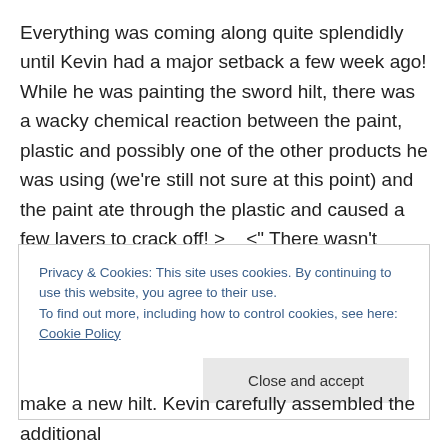Everything was coming along quite splendidly until Kevin had a major setback a few week ago! While he was painting the sword hilt, there was a wacky chemical reaction between the paint, plastic and possibly one of the other products he was using (we're still not sure at this point) and the paint ate through the plastic and caused a few layers to crack off! >__<" There wasn't much that could be salvaged, so the entire sword hilt had to be scrapped and rebuilt from scratch.
Privacy & Cookies: This site uses cookies. By continuing to use this website, you agree to their use. To find out more, including how to control cookies, see here: Cookie Policy
make a new hilt. Kevin carefully assembled the additional